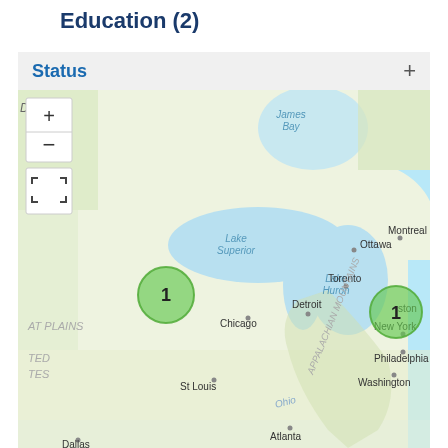Education (2)
Status +
[Figure (map): Interactive map of northeastern North America showing Lake Superior, Lake Huron, James Bay, cities including Ottawa, Montreal, Toronto, Chicago, Detroit, New York, Philadelphia, Washington, St Louis, Atlanta, Dallas, Boston. Two green cluster markers each labeled '1' — one near the Great Lakes region (Minnesota/Wisconsin area) and one near Boston on the east coast. Map controls show + zoom, - zoom, and fullscreen buttons. Geographic labels include 'DA', 'AT PLAINS', 'TED', 'TES', 'APPALACHIAN MOUNTAINS', 'Ohio'.]